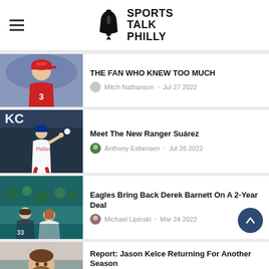Sports Talk Philly
THE FAN WHO KNEW TOO MUCH — Mitch Nathanson • Jul 27 2022
Meet The New Ranger Suárez — Anthony Esbensen • Jul 26 2022
Eagles Bring Back Derek Barnett On A 2-Year Deal — Michael Lipinski • Mar 24 2022
Report: Jason Kelce Returning For Another Season — Michael Lipinski • Feb 12 2022